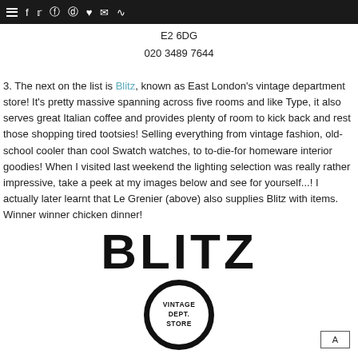≡ f Twitter Pinterest Instagram ♥ Email RSS
E2 6DG
020 3489 7644
3. The next on the list is Blitz, known as East London's vintage department store! It's pretty massive spanning across five rooms and like Type, it also serves great Italian coffee and provides plenty of room to kick back and rest those shopping tired tootsies! Selling everything from vintage fashion, old-school cooler than cool Swatch watches, to to-die-for homeware interior goodies! When I visited last weekend the lighting selection was really rather impressive, take a peek at my images below and see for yourself...! I actually later learnt that Le Grenier (above) also supplies Blitz with items. Winner winner chicken dinner!
[Figure (logo): Blitz Vintage Dept Store logo with large BLITZ text, circular badge reading VINTAGE DEPT. STORE, and partial BLITZ text below]